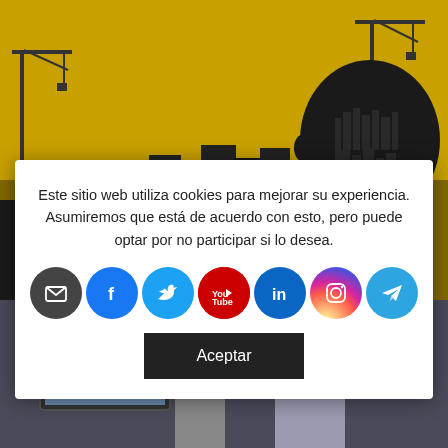[Figure (illustration): Construction/cityscape silhouette on yellow/golden background with cranes and buildings, and a human profile head silhouette on the right]
Este sitio web utiliza cookies para mejorar su experiencia. Asumiremos que está de acuerdo con esto, pero puede optar por no participar si lo desea.
[Figure (infographic): Row of social media icons: email, Facebook, Twitter, YouTube, LinkedIn, Instagram, Telegram]
Aceptar
[Figure (photo): Two people (a man and a woman) looking at a computer screen together in an office setting]